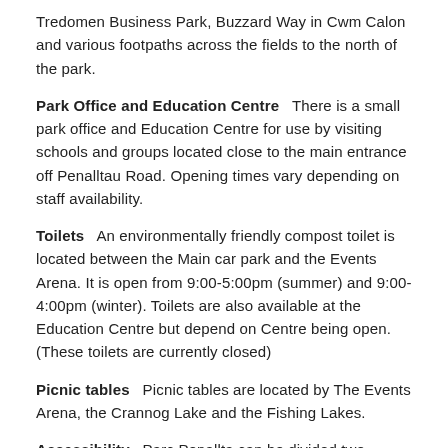Tredomen Business Park, Buzzard Way in Cwm Calon and various footpaths across the fields to the north of the park.
Park Office and Education Centre   There is a small park office and Education Centre for use by visiting schools and groups located close to the main entrance off Penalltau Road. Opening times vary depending on staff availability.
Toilets   An environmentally friendly compost toilet is located between the Main car park and the Events Arena. It is open from 9:00-5:00pm (summer) and 9:00-4:00pm (winter). Toilets are also available at the Education Centre but depend on Centre being open. (These toilets are currently closed)
Picnic tables   Picnic tables are located by The Events Arena, the Crannog Lake and the Fishing Lakes.
Accessibility   Parc Penallta can be divided two distinct areas for accessibility. The area around the